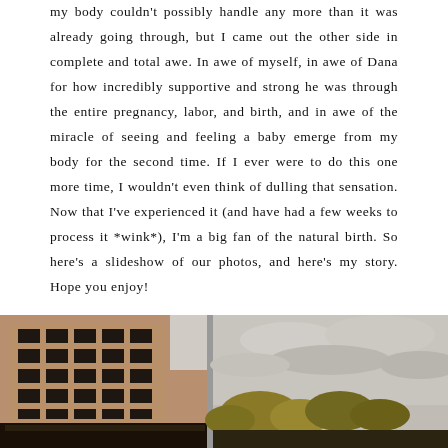my body couldn't possibly handle any more than it was already going through, but I came out the other side in complete and total awe.  In awe of myself, in awe of Dana for how incredibly supportive and strong he was through the entire pregnancy, labor, and birth, and in awe of the miracle of seeing and feeling a baby emerge from my body for the second time.  If I ever were to do this one more time, I wouldn't even think of dulling that sensation.  Now that I've experienced it (and have had a few weeks to process it *wink*), I'm a big fan of the natural birth.  So here's a slideshow of our photos, and here's my story.  Hope you enjoy!
[Figure (photo): Two side-by-side photographs. Left photo shows a multi-story brick apartment building with a dark roof structure and cloudy sky. Right photo shows a scene with overcast cloudy sky and autumn foliage/trees at the bottom.]